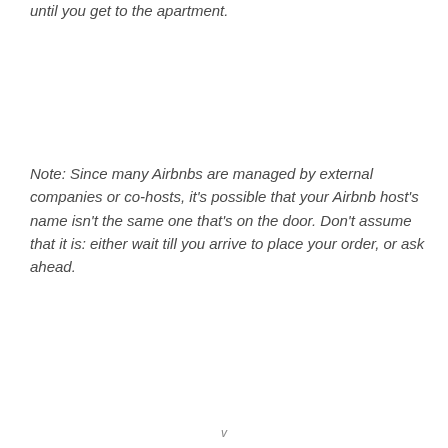until you get to the apartment.
Note: Since many Airbnbs are managed by external companies or co-hosts, it’s possible that your Airbnb host’s name isn’t the same one that’s on the door. Don’t assume that it is: either wait till you arrive to place your order, or ask ahead.
v